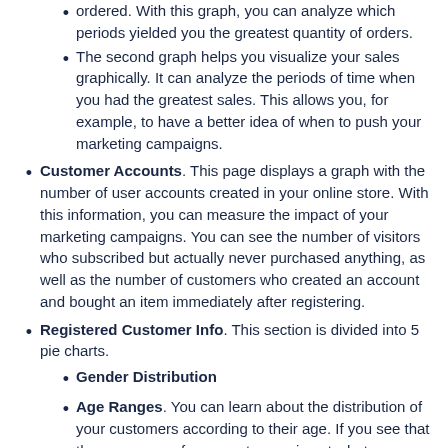ordered. With this graph, you can analyze which periods yielded you the greatest quantity of orders.
The second graph helps you visualize your sales graphically. It can analyze the periods of time when you had the greatest sales. This allows you, for example, to have a better idea of when to push your marketing campaigns.
Customer Accounts. This page displays a graph with the number of user accounts created in your online store. With this information, you can measure the impact of your marketing campaigns. You can see the number of visitors who subscribed but actually never purchased anything, as well as the number of customers who created an account and bought an item immediately after registering.
Registered Customer Info. This section is divided into 5 pie charts.
Gender Distribution
Age Ranges. You can learn about the distribution of your customers according to their age. If you see that the age range of your customers is not what you imagined it would be, think about adjusting your marketing approach.
Country Distribution. You can quickly consult from